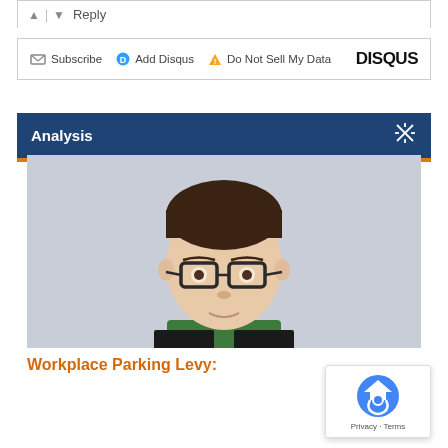▲ | ▼  Reply
✉ Subscribe  ⊙ Add Disqus  ▲ Do Not Sell My Data  DISQUS
Analysis
[Figure (photo): Headshot of a young man with glasses, brown hair, wearing a dark jacket and green checked shirt, against a light grey background]
Workplace Parking Levy: